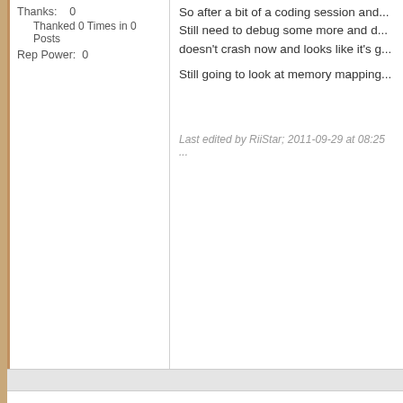Thanks: 0
Thanked 0 Times in 0 Posts
Rep Power: 0
So after a bit of a coding session and... Still need to debug some more and d... doesn't crash now and looks like it's g...
Still going to look at memory mapping...
Last edited by RiiStar; 2011-09-29 at 08:25 ...
2011-10-17, 08:14 AM